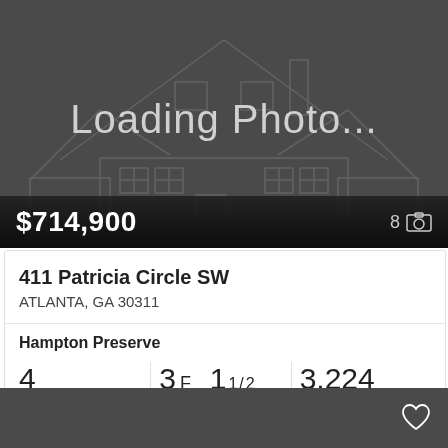[Figure (photo): Photo loading placeholder with dark gray background, house outline illustration, and 'Loading Photo...' text. Price bar at bottom shows $714,900 and photo count of 8.]
411 Patricia Circle SW
ATLANTA, GA 30311
Hampton Preserve
4 Beds  3F 11/2 Baths  3,224 Sq.Ft.
FMLS  Uptown Realty, Inc.
[Figure (photo): Bottom dark gray area with heart/favorite icon in lower right corner.]